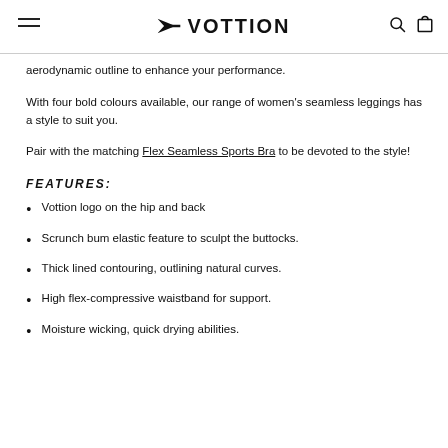VOTTION
aerodynamic outline to enhance your performance.
With four bold colours available, our range of women's seamless leggings has a style to suit you.
Pair with the matching Flex Seamless Sports Bra to be devoted to the style!
FEATURES:
Vottion logo on the hip and back
Scrunch bum elastic feature to sculpt the buttocks.
Thick lined contouring, outlining natural curves.
High flex-compressive waistband for support.
Moisture wicking, quick drying abilities.